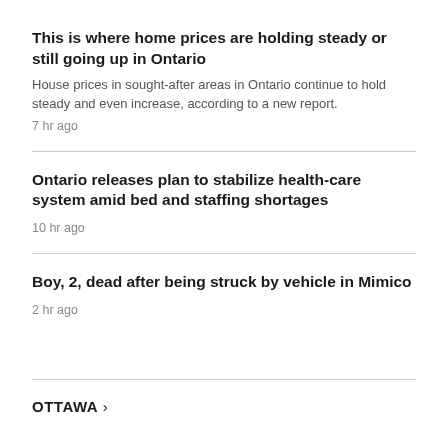This is where home prices are holding steady or still going up in Ontario
House prices in sought-after areas in Ontario continue to hold steady and even increase, according to a new report.
7 hr ago
Ontario releases plan to stabilize health-care system amid bed and staffing shortages
10 hr ago
Boy, 2, dead after being struck by vehicle in Mimico
2 hr ago
OTTAWA >